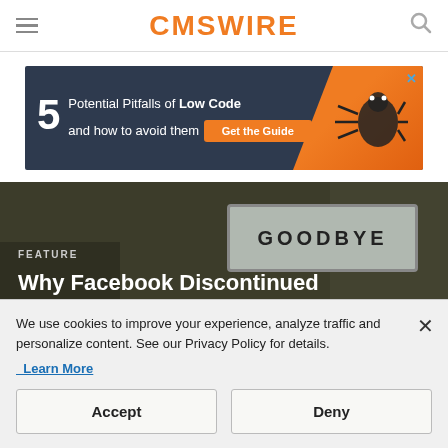CMSWIRE
[Figure (infographic): Advertisement banner: '5 Potential Pitfalls of Low Code and how to avoid them' with Get the Guide button on dark blue background with orange graphic]
[Figure (photo): Feature article header image showing a sign that reads GOODBYE with dark background. Text overlay: 'FEATURE' label and article title 'Why Facebook Discontinued']
We use cookies to improve your experience, analyze traffic and personalize content. See our Privacy Policy for details. Learn More
Accept
Deny